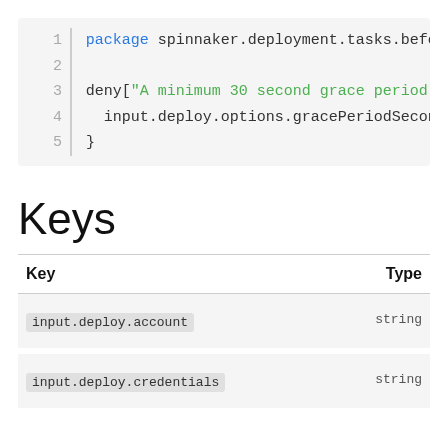[Figure (screenshot): Code snippet showing: line 1: 'package spinnaker.deployment.tasks.before.del', line 2: empty, line 3: 'deny["A minimum 30 second grace period must', line 4: 'input.deploy.options.gracePeriodSeconds<30', line 5: '}']
Keys
| Key | Type |
| --- | --- |
| input.deploy.account | string |
| input.deploy.credentials | string |